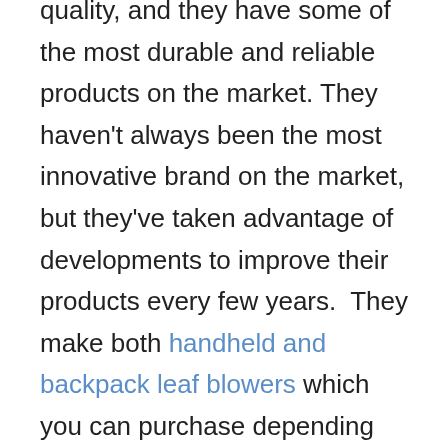quality, and they have some of the most durable and reliable products on the market. They haven't always been the most innovative brand on the market, but they've taken advantage of developments to improve their products every few years.  They make both handheld and backpack leaf blowers which you can purchase depending on your needs.
Stihl backpack leaf blowers offer a mix of quality, practicality, and durability.